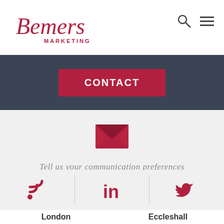[Figure (logo): Bemers Marketing cursive logo in dark red]
CONTACT
[Figure (illustration): Red envelope icon indicating email/contact]
Tell us your communication preferences
[Figure (illustration): RSS feed icon, LinkedIn icon, and Twitter bird icon in dark red]
London
Eccleshall